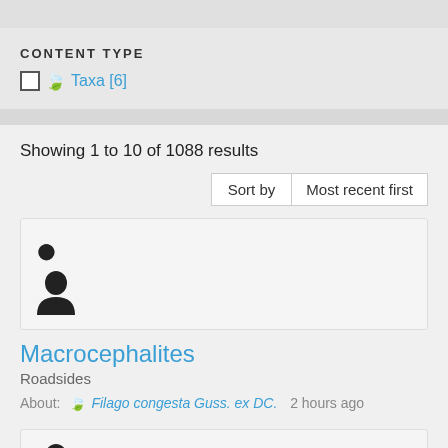CONTENT TYPE
Taxa [6]
Showing 1 to 10 of 1088 results
Sort by  Most recent first
[Figure (illustration): User silhouette avatar icon]
Macrocephalites
Roadsides
About: Filago congesta Guss. ex DC.  2 hours ago
[Figure (illustration): User silhouette avatar icon (second result)]